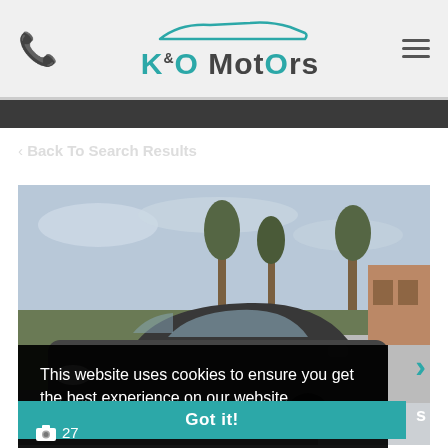K&O MotOrs
‹ Back To Search Results
[Figure (photo): A dark-colored car photographed outdoors with trees, grass, and a building in the background. Wintry scene.]
This website uses cookies to ensure you get the best experience on our website. Learn more
Got it!